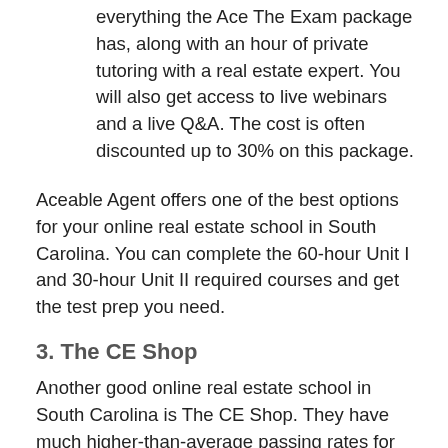everything the Ace The Exam package has, along with an hour of private tutoring with a real estate expert. You will also get access to live webinars and a live Q&A. The cost is often discounted up to 30% on this package.
Aceable Agent offers one of the best options for your online real estate school in South Carolina. You can complete the 60-hour Unit I and 30-hour Unit II required courses and get the test prep you need.
3. The CE Shop
Another good online real estate school in South Carolina is The CE Shop. They have much higher-than-average passing rates for both the national